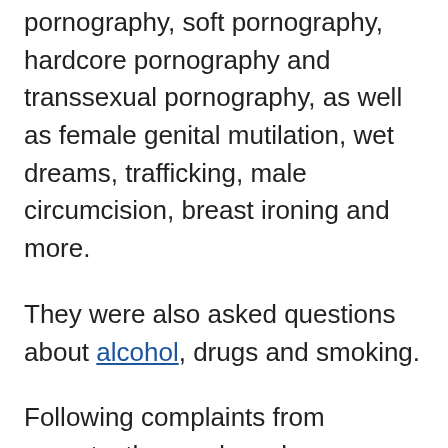pornography, soft pornography, hardcore pornography and transsexual pornography, as well as female genital mutilation, wet dreams, trafficking, male circumcision, breast ironing and more.
They were also asked questions about alcohol, drugs and smoking.
Following complaints from parents, the academy has now apologised for any offence caused.
The mother, who wished only